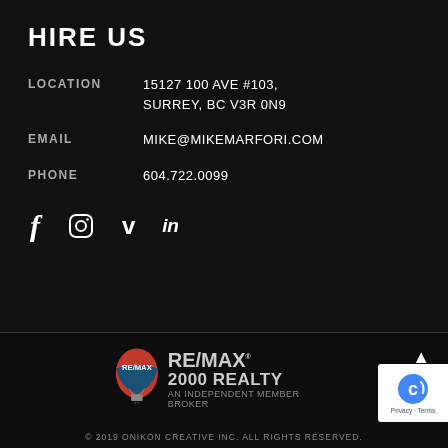HIRE US
LOCATION   15127 100 AVE #103, SURREY, BC V3R 0N9
EMAIL   MIKE@MIKEMARFORI.COM
PHONE   604.722.0099
[Figure (infographic): Social media icons: Facebook, Instagram, Vimeo, LinkedIn]
[Figure (logo): RE/MAX 2000 REALTY - An Independent Member Broker logo with hot air balloon]
© 2019 ONIKON CREATIVE INC. ALL RIGHTS RESERVED.